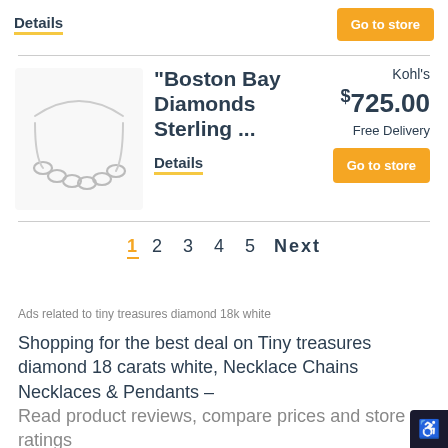Details
Go to store
[Figure (photo): Silver chain-link necklace on white background]
"Boston Bay Diamonds Sterling ...
Details
Kohl's
$725.00
Free Delivery
Go to store
1 2 3 4 5 Next
Ads related to tiny treasures diamond 18k white
Shopping for the best deal on Tiny treasures diamond 18 carats white, Necklace Chains Necklaces & Pendants – Read product reviews, compare prices and store ratings